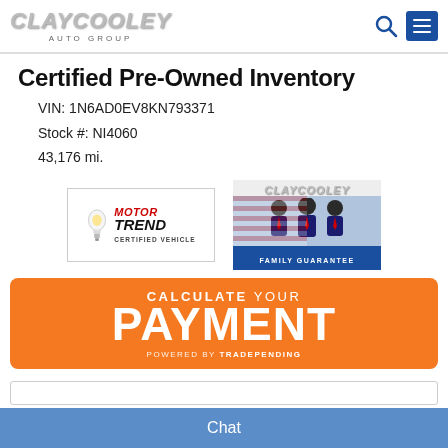CLAYCOOLEY AUTO GROUP
Certified Pre-Owned Inventory
VIN: 1N6AD0EV8KN793371
Stock #: NI4060
43,176 mi.
[Figure (logo): MotorTrend Certified Vehicle badge]
[Figure (logo): Clay Cooley Family Guarantee badge with three men in suits and American/Texas flags]
[Figure (infographic): Orange banner: CALCULATE YOUR PAYMENT powered by TRADEPENDING]
Chat